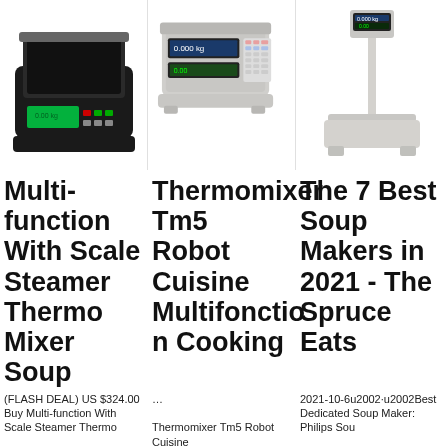[Figure (photo): Digital kitchen scale with green LCD display and black body, white background]
[Figure (photo): Commercial counting scale with keypad and dual display, light grey body, white background]
[Figure (photo): Platform scale with tall pole display stand, white/cream color, white background]
Multi-function With Scale Steamer Thermo Mixer Soup
Thermomixer Tm5 Robot Cuisine Multifonction Cooking
The 7 Best Soup Makers in 2021 - The Spruce Eats
(FLASH DEAL) US $324.00 Buy Multi-function With Scale Steamer Thermo
...

Thermomixer Tm5 Robot Cuisine
2021-10-6u2002·u2002Best Dedicated Soup Maker: Philips Sou